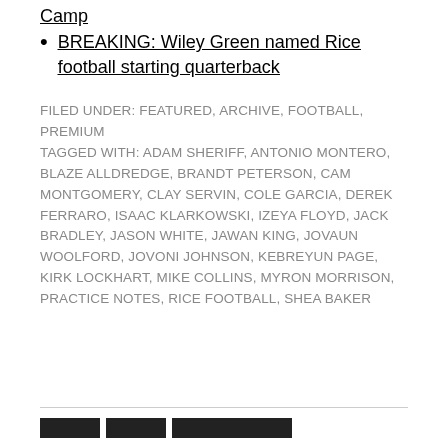BREAKING: Wiley Green named Rice football starting quarterback
FILED UNDER: FEATURED, ARCHIVE, FOOTBALL, PREMIUM
TAGGED WITH: ADAM SHERIFF, ANTONIO MONTERO, BLAZE ALLDREDGE, BRANDT PETERSON, CAM MONTGOMERY, CLAY SERVIN, COLE GARCIA, DEREK FERRARO, ISAAC KLARKOWSKI, IZEYA FLOYD, JACK BRADLEY, JASON WHITE, JAWAN KING, JOVAUN WOOLFORD, JOVONI JOHNSON, KEBREYUN PAGE, KIRK LOCKHART, MIKE COLLINS, MYRON MORRISON, PRACTICE NOTES, RICE FOOTBALL, SHEA BAKER